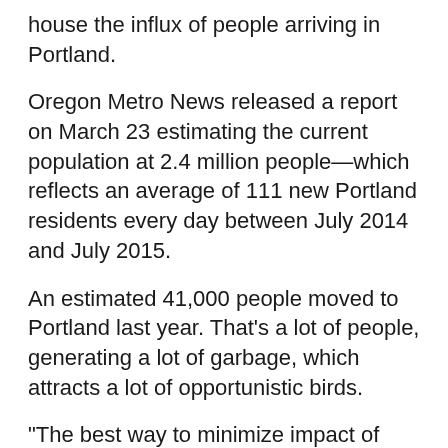house the influx of people arriving in Portland.
Oregon Metro News released a report on March 23 estimating the current population at 2.4 million people—which reflects an average of 111 new Portland residents every day between July 2014 and July 2015.
An estimated 41,000 people moved to Portland last year. That's a lot of people, generating a lot of garbage, which attracts a lot of opportunistic birds.
“The best way to minimize impact of crows is to minimize our own impact,” Liebezeit said. “Humans can flip it back on themselves and control their own behaviors.”